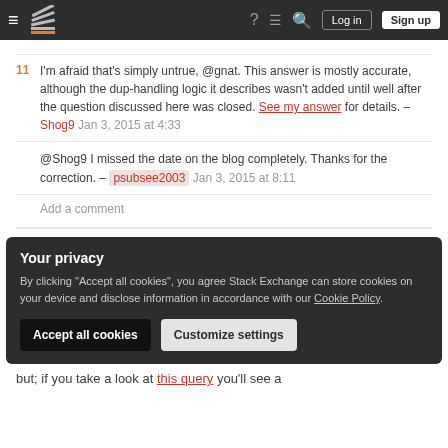Stack Exchange navigation bar with hamburger menu, logo, help, chat, search icons, Log in and Sign up buttons
11  I'm afraid that's simply untrue, @gnat. This answer is mostly accurate, although the dup-handling logic it describes wasn't added until well after the question discussed here was closed. See my answer for details. – Shog9 Jan 3, 2015 at 4:33
@Shog9 I missed the date on the blog completely. Thanks for the correction. – psubsee2003 Jan 3, 2015 at 8:11
Add a comment
Your privacy
By clicking "Accept all cookies", you agree Stack Exchange can store cookies on your device and disclose information in accordance with our Cookie Policy.
Accept all cookies   Customize settings
but; if you take a look at this query you'll see a